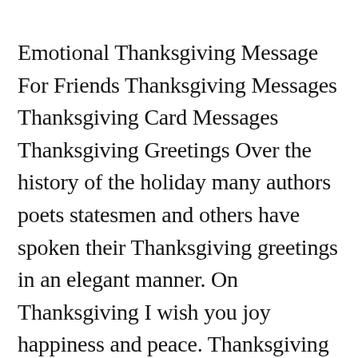Emotional Thanksgiving Message For Friends Thanksgiving Messages Thanksgiving Card Messages Thanksgiving Greetings Over the history of the holiday many authors poets statesmen and others have spoken their Thanksgiving greetings in an elegant manner. On Thanksgiving I wish you joy happiness and peace. Thanksgiving is a time of togetherness and gratitude Nigel Hamilton Thanksgiving Day is a good day to recommit our energies to giving thanks and just givingⓧAmy Grant. Happy